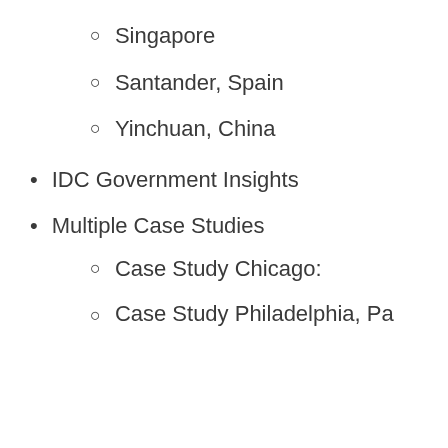Singapore
Santander, Spain
Yinchuan, China
IDC Government Insights
Multiple Case Studies
Case Study Chicago:
Case Study Philadelphia, Pa